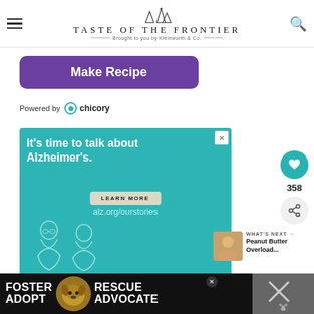TASTE OF THE FRONTIER — Brought to you by Kleinworth & Co.
Make Recipe
Powered by chicory
[Figure (infographic): Alzheimer's awareness advertisement with teal background. Text reads: It's time to talk about Alzheimer's. LEARN MORE. alz.org/ourstories. Illustration of two people talking.]
358
WHAT'S NEXT → Peanut Butter Overload...
[Figure (infographic): Pet adoption advertisement on black background: FOSTER ADOPT / RESCUE ADVOCATE with a dog photo.]